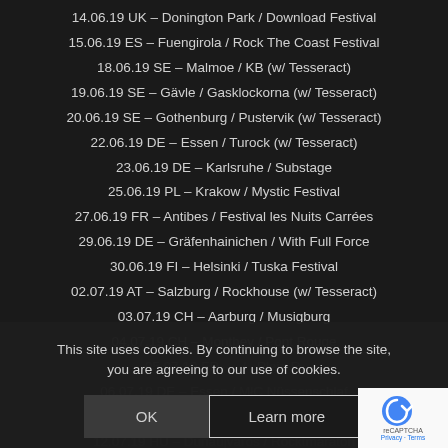14.06.19 UK – Donington Park / Download Festival
15.06.19 ES – Fuengirola / Rock The Coast Festival
18.06.19 SE – Malmoe / KB (w/ Tesseract)
19.06.19 SE – Gävle / Gasklockorna (w/ Tesseract)
20.06.19 SE – Gothenburg / Pustervik (w/ Tesseract)
22.06.19 DE – Essen / Turock (w/ Tesseract)
23.06.19 DE – Karlsruhe /  Substage
25.06.19 PL – Krakow / Mystic Festival
27.06.19 FR – Antibes / Festival les Nuits Carrées
29.06.19 DE – Gräfenhainichen / With Full Force
30.06.19 FI – Helsinki / Tuska Festival
02.07.19 AT – Salzburg / Rockhouse (w/ Tesseract)
03.07.19 CH – Aarburg / Musigburg
04.07.19 CH – Monthey / Pont Rouge
05.07.19 FR – … / … Plein R…
06.07.19 DE – Essen / MfC Nüssenschlaf
09.07.19 DE – Hannover / Club Voltavville
12.07.19 HU – Dunaujvaros / Rocktmaraton
14.07.19 UA – Kiev / Atlas Weekend
19.07.19 UK – Gloucestershire / Amplified Open Air Festival
This site uses cookies. By continuing to browse the site, you are agreeing to our use of cookies.
OK
Learn more